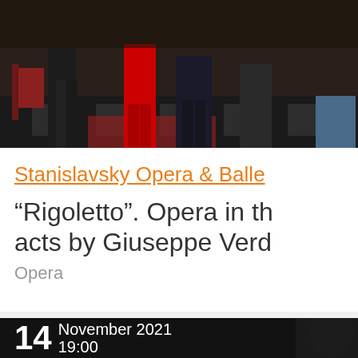[Figure (photo): Stage photo of opera performers in costume on a checkered black-and-white floor, partial view showing legs and lower bodies with colorful costumes including red trousers]
Stanislavsky Opera & Ballet
"Rigoletto". Opera in three acts by Giuseppe Verdi
Opera
[Figure (photo): Dark promotional photo with date overlay showing 14 November 2021 19:00]